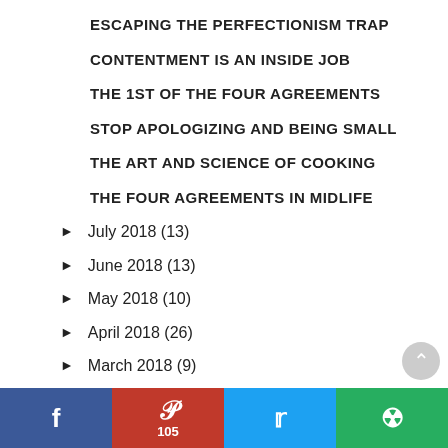ESCAPING THE PERFECTIONISM TRAP
CONTENTMENT IS AN INSIDE JOB
THE 1ST OF THE FOUR AGREEMENTS
STOP APOLOGIZING AND BEING SMALL
THE ART AND SCIENCE OF COOKING
THE FOUR AGREEMENTS IN MIDLIFE
► July 2018 (13)
► June 2018 (13)
► May 2018 (10)
► April 2018 (26)
► March 2018 (9)
► February 2018 (8)
► January 2018 (9)
► 2017 (169)